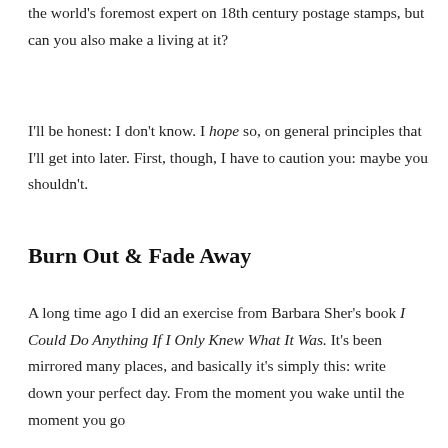the world's foremost expert on 18th century postage stamps, but can you also make a living at it?
I'll be honest: I don't know. I hope so, on general principles that I'll get into later. First, though, I have to caution you: maybe you shouldn't.
Burn Out & Fade Away
A long time ago I did an exercise from Barbara Sher's book I Could Do Anything If I Only Knew What It Was. It's been mirrored many places, and basically it's simply this: write down your perfect day. From the moment you wake until the moment you go